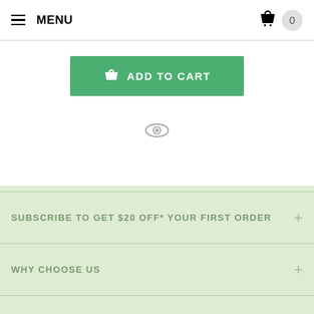MENU  0
[Figure (screenshot): Green Add to Cart button with basket icon]
[Figure (screenshot): Eye/view icon]
SUBSCRIBE TO GET $20 OFF* YOUR FIRST ORDER
WHY CHOOSE US
CATALOGUES